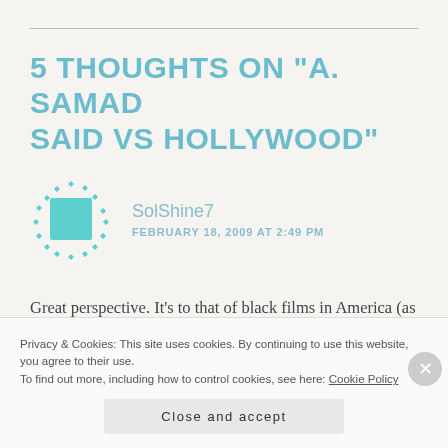5 THOUGHTS ON “A. SAMAD SAID VS HOLLYWOOD”
SolShine7
FEBRUARY 18, 2009 AT 2:49 PM
Great perspective. It’s to that of black films in America (as well as other minorities). Sometimes people easily write those type of indie movies off
Privacy & Cookies: This site uses cookies. By continuing to use this website, you agree to their use.
To find out more, including how to control cookies, see here: Cookie Policy
Close and accept